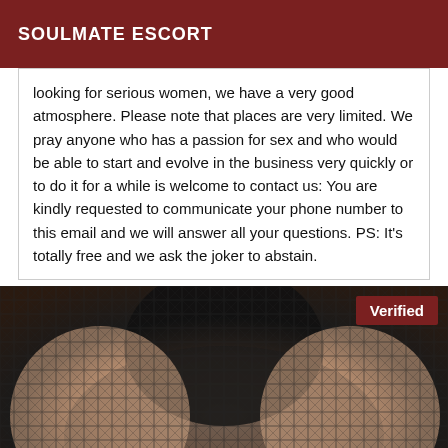SOULMATE ESCORT
looking for serious women, we have a very good atmosphere. Please note that places are very limited. We pray anyone who has a passion for sex and who would be able to start and evolve in the business very quickly or to do it for a while is welcome to contact us: You are kindly requested to communicate your phone number to this email and we will answer all your questions. PS: It's totally free and we ask the joker to abstain.
[Figure (photo): Close-up photo of a person wearing fishnet lingerie with a 'Verified' badge overlaid in the top-right corner.]